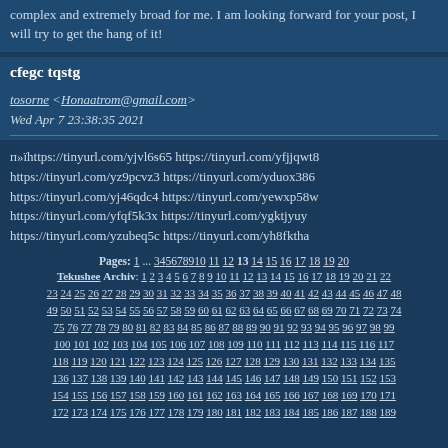complex and extremely broad for me. I am looking forward for your post, I will try to get the hang of it!
cfegc tqstg
tosorne <Honaatrom@gmail.com>
Wed Apr 7 23:38:35 2021
п»їhttps://tinyurl.com/yjvl6s65 https://tinyurl.com/yfjjqwt8 https://tinyurl.com/yz9pcvz3 https://tinyurl.com/yduox386 https://tinyurl.com/yj46qdc4 https://tinyurl.com/yewxp58w https://tinyurl.com/yfqf5k3x https://tinyurl.com/ygktjyuy https://tinyurl.com/yzubeq5c https://tinyurl.com/yh8fktha
Pages: 1 ... 3 4 5 6 7 8 9 10 11 12 13 14 15 16 17 18 19 20
Tekushee Archiv: 1 2 3 4 5 6 7 8 9 10 11 12 13 14 15 16 17 18 19 20 21 22 23 24 25 26 27 28 29 30 31 32 33 34 35 36 37 38 39 40 41 42 43 44 45 46 47 48 49 50 51 52 53 54 55 56 57 58 59 60 61 62 63 64 65 66 67 68 69 70 71 72 73 74 75 76 77 78 79 80 81 82 83 84 85 86 87 88 89 90 91 92 93 94 95 96 97 98 99 100 101 102 103 104 105 106 107 108 109 110 111 112 113 114 115 116 117 118 119 120 121 122 123 124 125 126 127 128 129 130 131 132 133 134 135 136 137 138 139 140 141 142 143 144 145 146 147 148 149 150 151 152 153 154 155 156 157 158 159 160 161 162 163 164 165 166 167 168 169 170 171 172 173 174 175 176 177 178 179 180 181 182 183 184 185 186 187 188 189